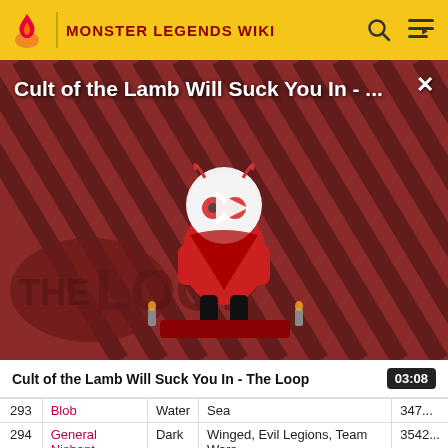MONSTER LEGENDS WIKI
[Figure (screenshot): Video thumbnail for 'Cult of the Lamb Will Suck You In - The Loop' showing a cartoon lamb character on a dark red diagonal-striped background with THE LOOP text and a play button overlay]
Cult of the Lamb Will Suck You In - ...
Cult of the Lamb Will Suck You In - The Loop   03:08
| # | Name | Element | Category | Score |
| --- | --- | --- | --- | --- |
| 293 | Blob | Water | Sea | 347... |
| 294 | General Nishant | Dark | Winged, Evil Legions, Team Wars | 3542... |